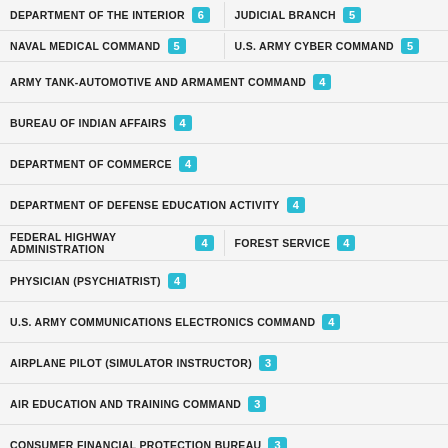DEPARTMENT OF THE INTERIOR (6)   JUDICIAL BRANCH (5)
NAVAL MEDICAL COMMAND (5)   U.S. ARMY CYBER COMMAND (5)
ARMY TANK-AUTOMOTIVE AND ARMAMENT COMMAND (4)
BUREAU OF INDIAN AFFAIRS (4)
DEPARTMENT OF COMMERCE (4)
DEPARTMENT OF DEFENSE EDUCATION ACTIVITY (4)
FEDERAL HIGHWAY ADMINISTRATION (4)   FOREST SERVICE (4)
PHYSICIAN (PSYCHIATRIST) (4)
U.S. ARMY COMMUNICATIONS ELECTRONICS COMMAND (4)
AIRPLANE PILOT (SIMULATOR INSTRUCTOR) (3)
AIR EDUCATION AND TRAINING COMMAND (3)
CONSUMER FINANCIAL PROTECTION BUREAU (3)
ELECTRONIC DIGITAL COMPUTER MECHANIC - DIRECT HIRE